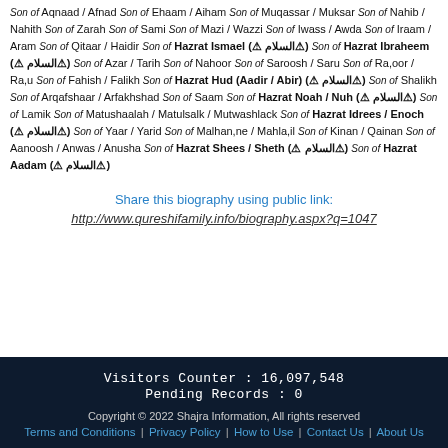Son of Aqnaad / Afnad Son of Ehaam / Aiham Son of Muqassar / Muksar Son of Nahib / Nahith Son of Zarah Son of Sami Son of Mazi / Wazzi Son of Iwass / Awda Son of Iraam / Aram Son of Qitaar / Haidir Son of Hazrat Ismael (علیه السلام) Son of Hazrat Ibraheem (علیه السلام) Son of Azar / Tarih Son of Nahoor Son of Saroosh / Saru Son of Ra,oor / Ra,u Son of Fahish / Falikh Son of Hazrat Hud (Aadir / Abir) (علیه السلام) Son of Shalikh Son of Arqafshaar / Arfakhshad Son of Saam Son of Hazrat Noah / Nuh (علیه السلام) Son of Lamik Son of Matushaalah / Matulsalk / Mutwashlack Son of Hazrat Idrees / Enoch (علیه السلام) Son of Yaar / Yarid Son of Malhan,ne / Mahla,il Son of Kinan / Qainan Son of Aanoosh / Anwas / Anusha Son of Hazrat Shees / Sheth (علیه السلام) Son of Hazrat Aadam (علیه السلام)
Share this biography using public link:
http://www.qureshifamily.info/biography.aspx?q=1047
Visitors Counter : 16,097,548
Pending Records : 0
Copyright © 2022 Shajra Information, All rights reserved
Terms and Conditions | Privacy Policy | How to Use | Contact Us | About Us